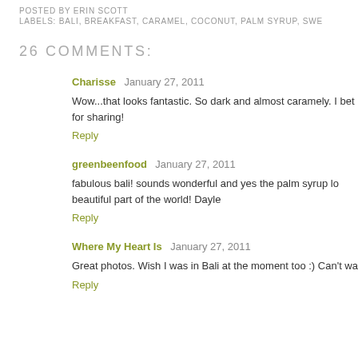POSTED BY ERIN SCOTT
LABELS: BALI, BREAKFAST, CARAMEL, COCONUT, PALM SYRUP, SWE...
26 COMMENTS:
Charisse  January 27, 2011
Wow...that looks fantastic. So dark and almost caramely. I bet for sharing!
Reply
greenbeenfood  January 27, 2011
fabulous bali! sounds wonderful and yes the palm syrup lo beautiful part of the world! Dayle
Reply
Where My Heart Is  January 27, 2011
Great photos. Wish I was in Bali at the moment too :) Can't wa
Reply